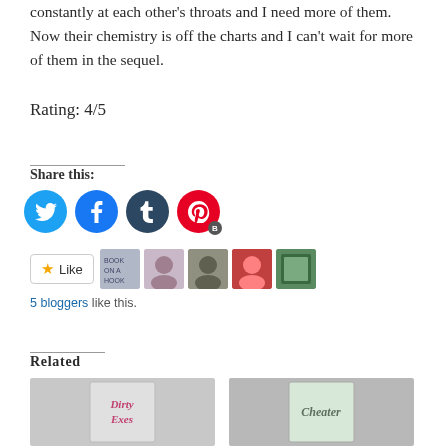constantly at each other's throats and I need more of them. Now their chemistry is off the charts and I can't wait for more of them in the sequel.
Rating: 4/5
Share this:
[Figure (infographic): Social media sharing icons: Twitter (blue), Facebook (blue), Tumblr (dark blue-grey), Pinterest (red with B badge)]
[Figure (infographic): Like button with star icon and 5 blogger avatar thumbnails]
5 bloggers like this.
Related
[Figure (photo): Book cover photo: Dirty Exes on white fabric background]
[Figure (photo): Book cover photo: Cheater on grey fabric background]